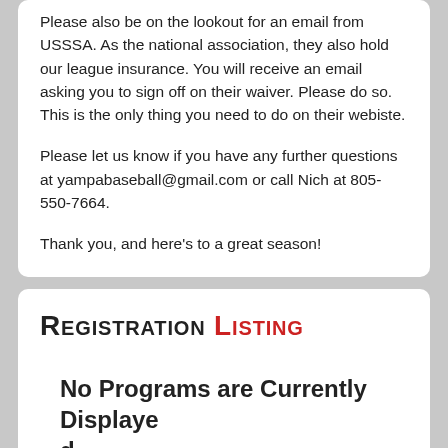Please also be on the lookout for an email from USSSA. As the national association, they also hold our league insurance. You will receive an email asking you to sign off on their waiver. Please do so. This is the only thing you need to do on their webiste.
Please let us know if you have any further questions at yampabaseball@gmail.com or call Nich at 805-550-7664.
Thank you, and here's to a great season!
Registration Listing
No Programs are Currently Displayed
There are no programs or divisions available at the